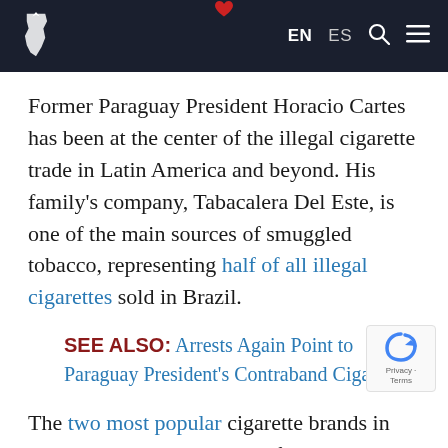EN  ES
Former Paraguay President Horacio Cartes has been at the center of the illegal cigarette trade in Latin America and beyond. His family's company, Tabacalera Del Este, is one of the main sources of smuggled tobacco, representing half of all illegal cigarettes sold in Brazil.
SEE ALSO: Arrests Again Point to Paraguay President's Contraband Cigarettes
The two most popular cigarette brands in Brazil are brands smuggled from Paraguay.
Besides, the smuggling routes in the Tri-Border